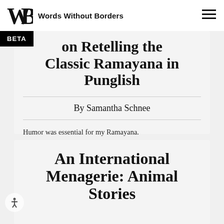Words Without Borders
on Retelling the Classic Ramayana in Punglish
By Samantha Schnee
Humor was essential for my Ramayana.
An International Menagerie: Animal Stories